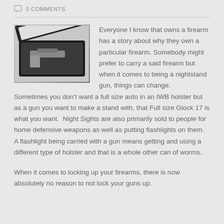0 COMMENTS
[Figure (photo): A black gun safe/lockbox shown open with a firearm inside]
Everyone I know that owns a firearm has a story about why they own a particular firearm. Somebody might prefer to carry a said firearm but when it comes to being a nightstand gun, things can change.   Sometimes you don't want a full size auto in an IWB holster but as a gun you want to make a stand with, that Full size Glock 17 is what you want.  Night Sights are also primarily sold to people for home defensive weapons as well as putting flashlights on them.   A flashlight being carried with a gun means getting and using a different type of holster and that is a whole other can of worms.
When it comes to locking up your firearms, there is now absolutely no reason to not lock your guns up.